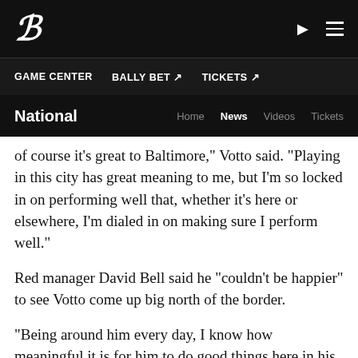B (logo) | ▶ ≡
GAME CENTER | BALLY BET ↗ | TICKETS ↗
National | Home | News | Videos | Tickets
of course it's great to Baltimore," Votto said. "Playing in this city has great meaning to me, but I'm so locked in on performing well that, whether it's here or elsewhere, I'm dialed in on making sure I perform well."
Red manager David Bell said he "couldn't be happier" to see Votto come up big north of the border.
"Being around him every day, I know how meaningful it is for him to do good things here in his hometown, but also how important it is for him to be a great player, to be a contributing player and to help us win a game," Bell said.